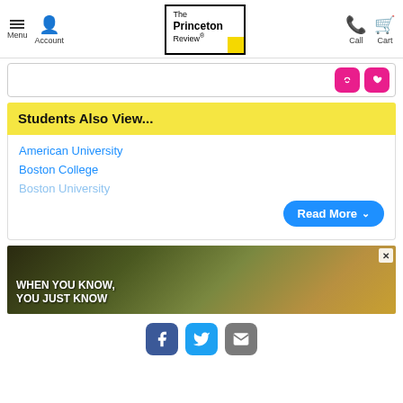Menu | Account | The Princeton Review | Call | Cart
[Figure (screenshot): Two pink rounded square icon buttons: a handshake icon and a heart icon]
Students Also View...
American University
Boston College
Boston University
[Figure (other): Read More button with chevron]
[Figure (photo): Advertisement banner with text WHEN YOU KNOW, YOU JUST KNOW showing a campus or building at sunset]
Facebook | Twitter | Email social sharing icons